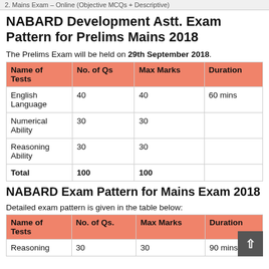2. Mains Exam – Online (Objective MCQs + Descriptive)
NABARD Development Astt. Exam Pattern for Prelims Mains 2018
The Prelims Exam will be held on 29th September 2018.
| Name of Tests | No. of Qs | Max Marks | Duration |
| --- | --- | --- | --- |
| English Language | 40 | 40 | 60 mins |
| Numerical Ability | 30 | 30 |  |
| Reasoning Ability | 30 | 30 |  |
| Total | 100 | 100 |  |
NABARD Exam Pattern for Mains Exam 2018
Detailed exam pattern is given in the table below:
| Name of Tests | No. of Qs. | Max Marks | Duration |
| --- | --- | --- | --- |
| Reasoning | 30 | 30 | 90 mins |